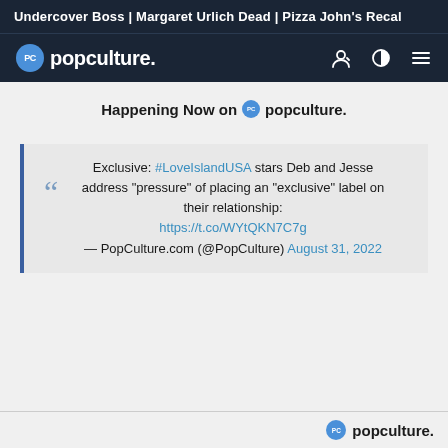Undercover Boss | Margaret Urlich Dead | Pizza John's Recal
[Figure (logo): PopCulture.com navigation bar with logo and icons]
Happening Now on popculture.
Exclusive: #LoveIslandUSA stars Deb and Jesse address "pressure" of placing an "exclusive" label on their relationship: https://t.co/WYtQKN7C7g — PopCulture.com (@PopCulture) August 31, 2022
popculture.